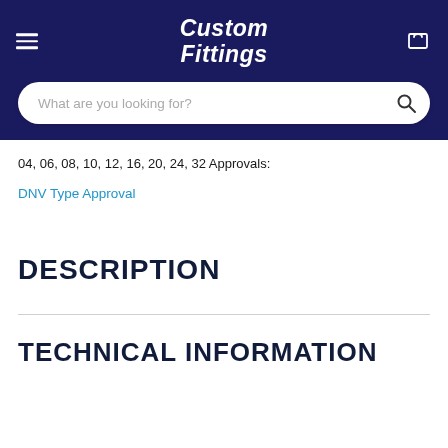Custom Fittings
04, 06, 08, 10, 12, 16, 20, 24, 32 Approvals:
DNV Type Approval
DESCRIPTION
TECHNICAL INFORMATION